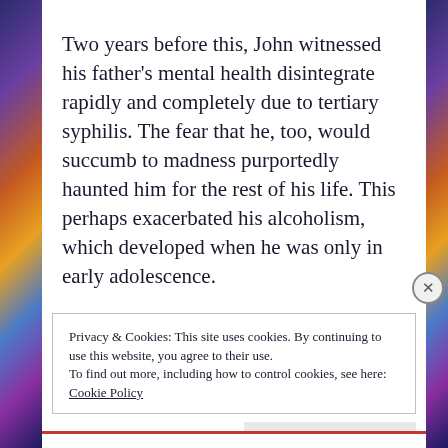Two years before this, John witnessed his father's mental health disintegrate rapidly and completely due to tertiary syphilis. The fear that he, too, would succumb to madness purportedly haunted him for the rest of his life. This perhaps exacerbated his alcoholism, which developed when he was only in early adolescence.
Privacy & Cookies: This site uses cookies. By continuing to use this website, you agree to their use.
To find out more, including how to control cookies, see here: Cookie Policy